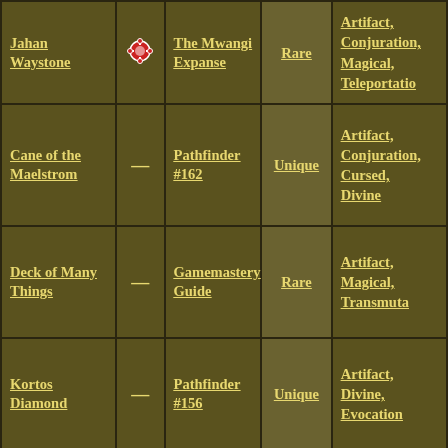| Name | Icon | Source | Rarity | Traits |
| --- | --- | --- | --- | --- |
| Jahan Waystone | [gem icon] | The Mwangi Expanse | Rare | Artifact, Conjuration, Magical, Teleportation |
| Cane of the Maelstrom | — | Pathfinder #162 | Unique | Artifact, Conjuration, Cursed, Divine |
| Deck of Many Things | — | Gamemastery Guide | Rare | Artifact, Magical, Transmutation |
| Kortos Diamond | — | Pathfinder #156 | Unique | Artifact, Divine, Evocation |
| Shadowed Scale, the Jungle Secret | — | Pathfinder #174 | Unique | Artifact, Conjuration, Invested, Magical, Pr... |
| ... |  |  |  | Arcana... |